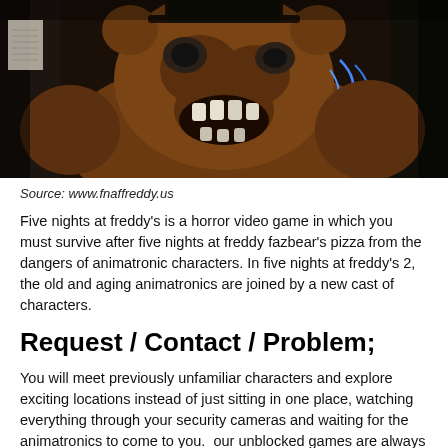[Figure (photo): A close-up photo of Withered Freddy Fazbear animatronic from Five Nights at Freddy's, showing a damaged brown bear character with exposed wiring, from the game/website www.fnaffreddy.us]
Source:  www.fnaffreddy.us
Five nights at freddy's is a horror video game in which you must survive after five nights at freddy fazbear's pizza from the dangers of animatronic characters. In five nights at freddy's 2, the old and aging animatronics are joined by a new cast of characters.
Request / Contact / Problem;
You will meet previously unfamiliar characters and explore exciting locations instead of just sitting in one place, watching everything through your security cameras and waiting for the animatronics to come to you.  our unblocked games are always free on google site.  Use hints and clues to figure out the mystery as you try not to get too